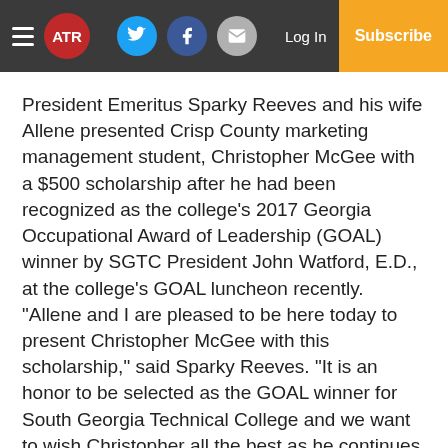ATR — Navigation bar with hamburger menu, ATR logo, Twitter, Facebook, Email social icons, Log In link, Subscribe button
President Emeritus Sparky Reeves and his wife Allene presented Crisp County marketing management student, Christopher McGee with a $500 scholarship after he had been recognized as the college's 2017 Georgia Occupational Award of Leadership (GOAL) winner by SGTC President John Watford, E.D., at the college's GOAL luncheon recently. “Allene and I are pleased to be here today to present Christopher McGee with this scholarship,” said Sparky Reeves. “It is an honor to be selected as the GOAL winner for South Georgia Technical College and we want to wish Christopher all the best as he continues his education and also represents South